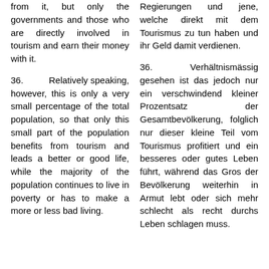from it, but only the governments and those who are directly involved in tourism and earn their money with it.
Regierungen und jene, welche direkt mit dem Tourismus zu tun haben und ihr Geld damit verdienen.
36. Relatively speaking, however, this is only a very small percentage of the total population, so that only this small part of the population benefits from tourism and leads a better or good life, while the majority of the population continues to live in poverty or has to make a more or less bad living.
36. Verhältnismässig gesehen ist das jedoch nur ein verschwindend kleiner Prozentsatz der Gesamtbevölkerung, folglich nur dieser kleine Teil vom Tourismus profitiert und ein besseres oder gutes Leben führt, während das Gros der Bevölkerung weiterhin in Armut lebt oder sich mehr schlecht als recht durchs Leben schlagen muss.